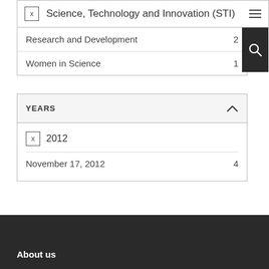Science, Technology and Innovation (STI)
Research and Development  2
Women in Science  1
YEARS
2012
November 17, 2012  4
About us